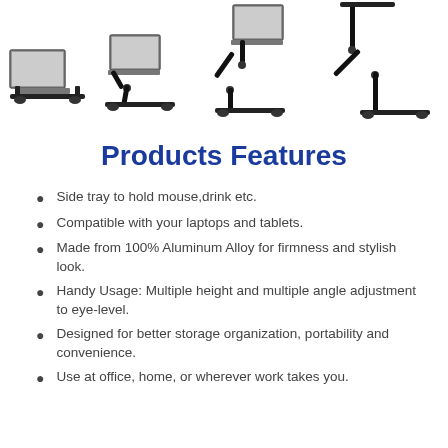[Figure (photo): Four laptop stands shown at different height/angle configurations, ranging from flat to tall standing desk positions, all black aluminum folding stands]
Products Features
Side tray to hold mouse,drink etc.
Compatible with your laptops and tablets.
Made from 100% Aluminum Alloy for firmness and stylish look.
Handy Usage: Multiple height and multiple angle adjustment to eye-level.
Designed for better storage organization, portability and convenience.
Use at office, home, or wherever work takes you.